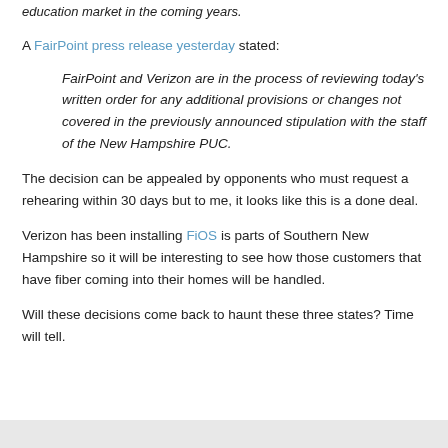education market in the coming years.
A FairPoint press release yesterday stated:
FairPoint and Verizon are in the process of reviewing today's written order for any additional provisions or changes not covered in the previously announced stipulation with the staff of the New Hampshire PUC.
The decision can be appealed by opponents who must request a rehearing within 30 days but to me, it looks like this is a done deal.
Verizon has been installing FiOS is parts of Southern New Hampshire so it will be interesting to see how those customers that have fiber coming into their homes will be handled.
Will these decisions come back to haunt these three states? Time will tell.